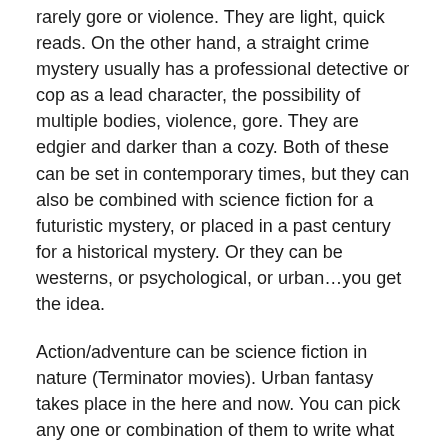rarely gore or violence. They are light, quick reads. On the other hand, a straight crime mystery usually has a professional detective or cop as a lead character, the possibility of multiple bodies, violence, gore. They are edgier and darker than a cozy. Both of these can be set in contemporary times, but they can also be combined with science fiction for a futuristic mystery, or placed in a past century for a historical mystery. Or they can be westerns, or psychological, or urban…you get the idea.
Action/adventure can be science fiction in nature (Terminator movies). Urban fantasy takes place in the here and now. You can pick any one or combination of them to write what you want – just be forewarned that not all sub-genres will sell well so if you want to write something marketable, keep this in mind.